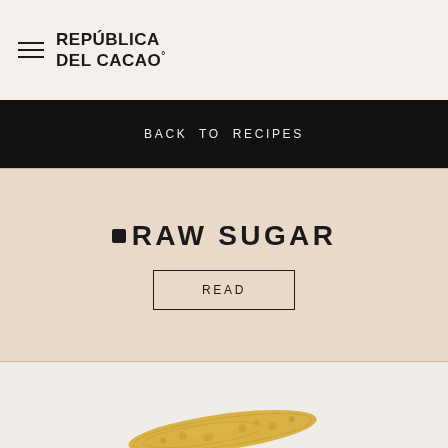REPÚBLICA DEL CACAO®
BACK TO RECIPES
•RAW SUGAR
READ
[Figure (photo): Close-up of a chocolate dessert topped with cream/ice cream and a thin caramel/tuile wafer, with nuts and chocolate crumbs visible]